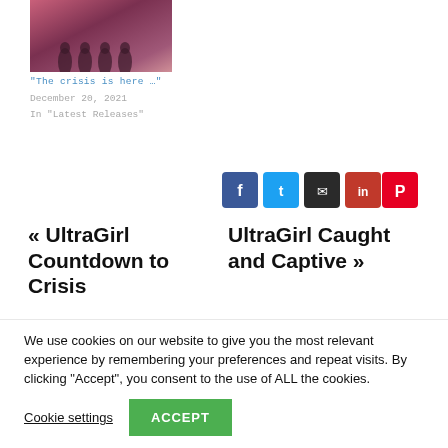[Figure (photo): Small thumbnail image with reddish/pink toned background showing silhouetted figures]
“The crisis is here …”
December 20, 2021
In “Latest Releases”
[Figure (infographic): Row of social sharing icon buttons: Facebook (blue), Twitter (light blue), Email (dark), LinkedIn (red), Pinterest (red)]
« UltraGirl Countdown to Crisis
UltraGirl Caught and Captive »
We use cookies on our website to give you the most relevant experience by remembering your preferences and repeat visits. By clicking “Accept”, you consent to the use of ALL the cookies.
Cookie settings
ACCEPT